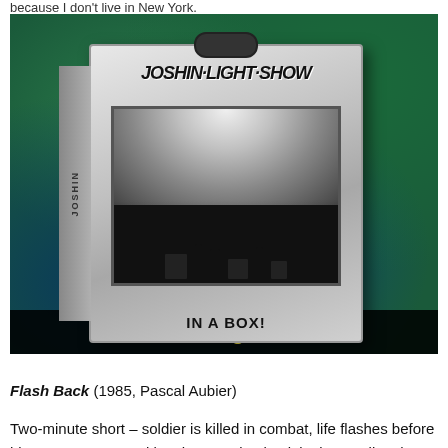because I don't live in New York.
[Figure (photo): Photo of a 'Portable Light Show in a Box' product — a metal suitcase-style box with a handle, featuring psychedelic lettering on top reading 'JOSHIN LIGHT SHOW', a screen showing silhouettes of performers against a bright light, and 'IN A BOX!' text at the bottom. The box is set against a colorful blue-green nebula-like background. A black caption bar at the bottom reads 'Portable Light Show' in yellow text.]
Portable Light Show
Flash Back (1985, Pascal Aubier)
Two-minute short – soldier is killed in combat, life flashes before his eyes represented by photos going back in time until to the earliest baby picture. Guess Pascal had to find an actor with lots of family photos